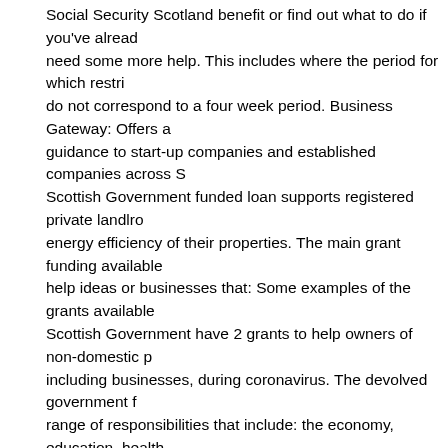Social Security Scotland benefit or find out what to do if you've already need some more help. This includes where the period for which restri do not correspond to a four week period. Business Gateway: Offers a guidance to start-up companies and established companies across S Scottish Government funded loan supports registered private landlro energy efficiency of their properties. The main grant funding available help ideas or businesses that: Some examples of the grants available Scottish Government have 2 grants to help owners of non-domestic p including businesses, during coronavirus. The devolved government f range of responsibilities that include: the economy, education, health, affairs, housing, environment, equal opportunities, consumer advoca transport and taxation. Scottish Enterprise are currently changing thei can sign up for more information on the Scottish Enterprise website. T Transition Fund provides money to young people living with disabilitie become independent and continue to spend more time with other peo will find formal updates released during the grant scheme lifecycle. G every 4 weeks in arrears as long as restrictions last. Mygov.scot uses are essential for the The Scottish Government has introduced extra ra discounts to help owners of non-domestic properties, including busine the impact of coronavirus. Find out how to apply for Job Start Paymer through your local council. Innovate UK run competitions for grants th areas they're looking to help develop. Any business which has not re